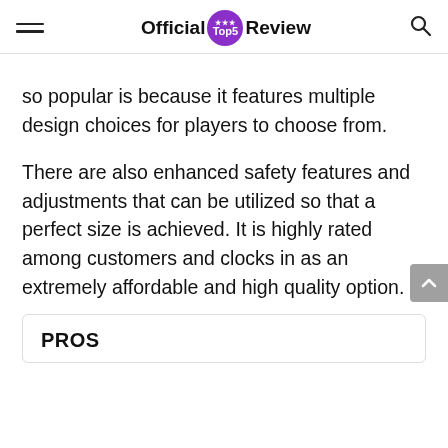Official Top5 Review
so popular is because it features multiple design choices for players to choose from.
There are also enhanced safety features and adjustments that can be utilized so that a perfect size is achieved. It is highly rated among customers and clocks in as an extremely affordable and high quality option.
PROS